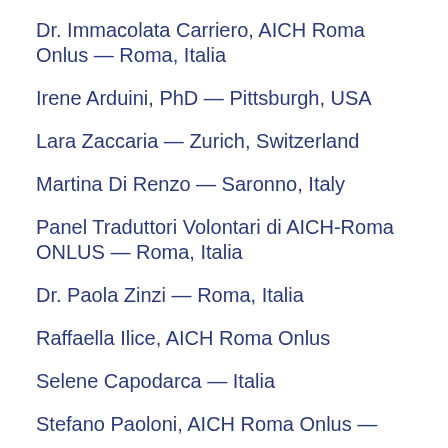Dr. Immacolata Carriero, AICH Roma Onlus — Roma, Italia
Irene Arduini, PhD — Pittsburgh, USA
Lara Zaccaria — Zurich, Switzerland
Martina Di Renzo — Saronno, Italy
Panel Traduttori Volontari di AICH-Roma ONLUS — Roma, Italia
Dr. Paola Zinzi — Roma, Italia
Raffaella Ilice, AICH Roma Onlus
Selene Capodarca — Italia
Stefano Paoloni, AICH Roma Onlus —